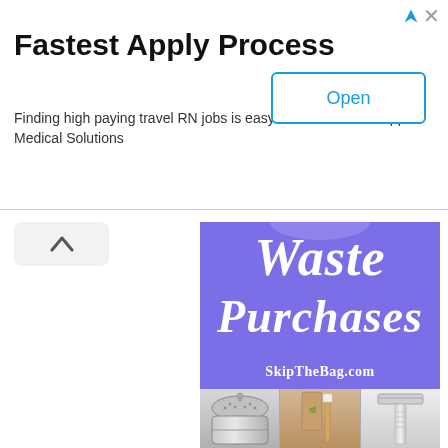Fastest Apply Process
Finding high paying travel RN jobs is easy with our traveler app Medical Solutions
[Figure (screenshot): Open button — blue outlined rectangle with 'Open' text in blue]
[Figure (illustration): Purple background promotional image for SkipTheBag.com featuring the text 'Waste Purchases' in large white serif italic font and 'SkipTheBag.com' in white below, with three zero-waste product images at the bottom: a stainless steel compost bin, a bamboo toothbrush with packaging, and a safety razor.]